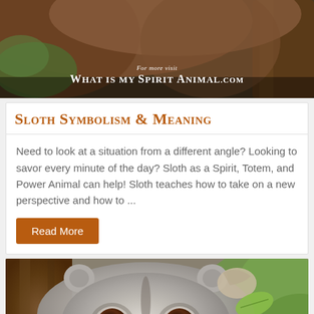[Figure (photo): Close-up photo of a bear (sloth) with brown fur near a tree, with website branding overlay reading 'For more visit What Is My Spirit Animal.com']
Sloth Symbolism & Meaning
Need to look at a situation from a different angle? Looking to savor every minute of the day? Sloth as a Spirit, Totem, and Power Animal can help! Sloth teaches how to take on a new perspective and how to ...
Read More
[Figure (photo): Close-up photo of a slow loris (small primate) looking at the camera with large brown eyes, clinging to a tree branch while holding a green leaf]